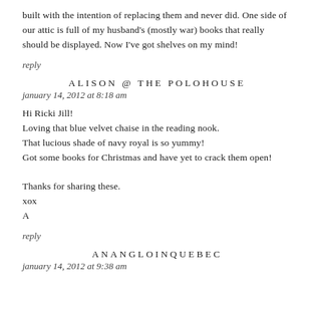built with the intention of replacing them and never did. One side of our attic is full of my husband's (mostly war) books that really should be displayed. Now I've got shelves on my mind!
reply
ALISON @ THE POLOHOUSE
january 14, 2012 at 8:18 am
Hi Ricki Jill!
Loving that blue velvet chaise in the reading nook.
That lucious shade of navy royal is so yummy!
Got some books for Christmas and have yet to crack them open!

Thanks for sharing these.
xox
A
reply
ANANGLOINQUEBEC
january 14, 2012 at 9:38 am